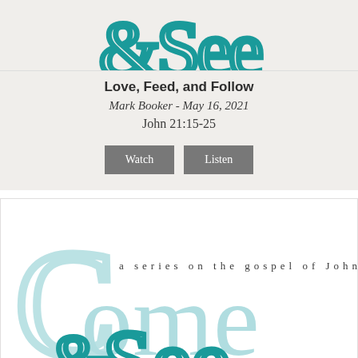[Figure (logo): Partial 'Come & See' logo in teal at top of page, showing '&See' text in stylized teal font, cropped at top]
Love, Feed, and Follow
Mark Booker - May 16, 2021
John 21:15-25
Watch   Listen
[Figure (logo): Come & See logo - a series on the gospel of John. Large stylized text 'Come & See' in teal/light teal with the text 'a series on the gospel of John' in spaced serif font]